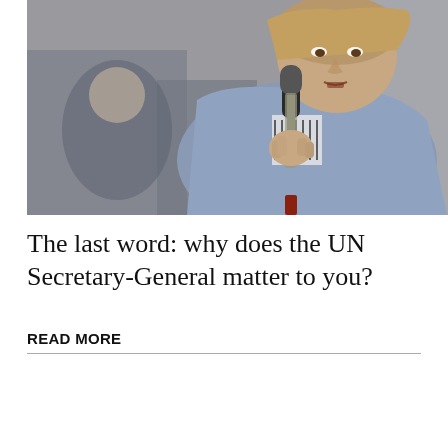[Figure (photo): A woman holding a microphone speaking at an event, wearing a blue/gray shawl over a striped shirt. Other attendees are visible in the blurred background.]
The last word: why does the UN Secretary-General matter to you?
READ MORE